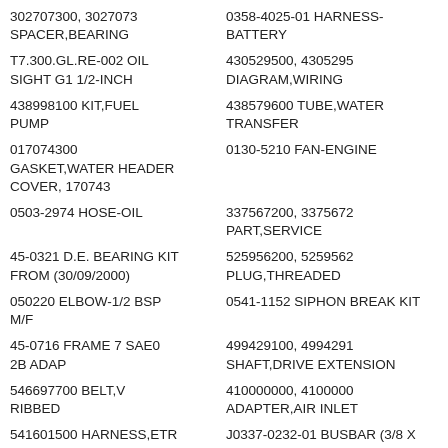302707300, 3027073 SPACER,BEARING
0358-4025-01 HARNESS-BATTERY
T7.300.GL.RE-002 OIL SIGHT G1 1/2-INCH
430529500, 4305295 DIAGRAM,WIRING
438998100 KIT,FUEL PUMP
438579600 TUBE,WATER TRANSFER
017074300 GASKET,WATER HEADER COVER, 170743
0130-5210 FAN-ENGINE
0503-2974 HOSE-OIL
337567200, 3375672 PART,SERVICE
45-0321 D.E. BEARING KIT FROM (30/09/2000)
525956200, 5259562 PLUG,THREADED
050220 ELBOW-1/2 BSP M/F
0541-1152 SIPHON BREAK KIT
45-0716 FRAME 7 SAE0 2B ADAP
499429100, 4994291 SHAFT,DRIVE EXTENSION
546697700 BELT,V RIBBED
410000000, 4100000 ADAPTER,AIR INLET
541601500 HARNESS,ETR CNT MDL WRG
J0337-0232-01 BUSBAR (3/8 X 1-3/4) X 160M
K200430V00 ENDSHIELD DE 24746.17.1
529781400, 5297814 TUBE,AIR TRANSFER
ST0122809, ST 1228 9, ST12289 DRIVER
A035B031 BRACKET,CIRCUIT BREAKER